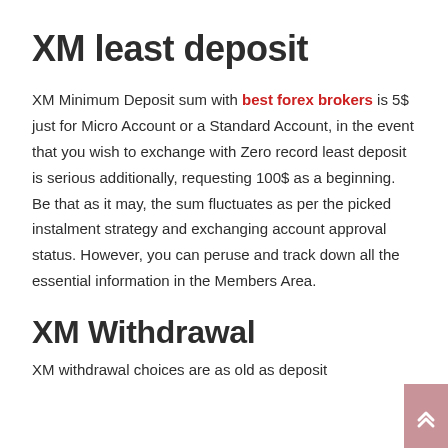XM least deposit
XM Minimum Deposit sum with best forex brokers is 5$ just for Micro Account or a Standard Account, in the event that you wish to exchange with Zero record least deposit is serious additionally, requesting 100$ as a beginning. Be that as it may, the sum fluctuates as per the picked instalment strategy and exchanging account approval status. However, you can peruse and track down all the essential information in the Members Area.
XM Withdrawal
XM withdrawal choices are as old as deposit